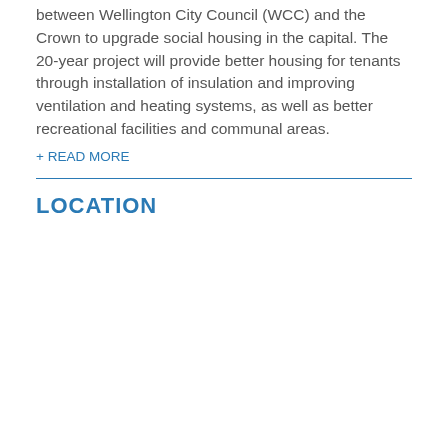between Wellington City Council (WCC) and the Crown to upgrade social housing in the capital. The 20-year project will provide better housing for tenants through installation of insulation and improving ventilation and heating systems, as well as better recreational facilities and communal areas.
+ READ MORE
LOCATION